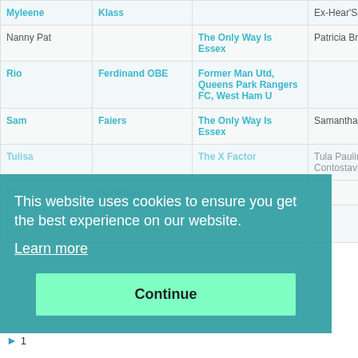| First | Last | Show | Full Name |
| --- | --- | --- | --- |
| Myleene | Klass |  | Ex-Hear'Say |
| Nanny Pat |  | The Only Way Is Essex | Patricia Brooker |
| Rio | Ferdinand OBE | Former Man Utd, Queens Park Rangers FC, West Ham U |  |
| Sam | Faiers | The Only Way Is Essex | Samantha Faiers |
| Tulisa |  | The X Factor | Tula Paulinea Contostavlos |
| Zoe | Hardman |  |  |
This website uses cookies to ensure you get the best experience on our website.
Learn more
Continue
1